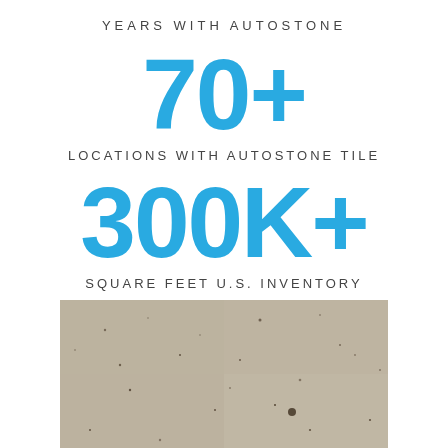YEARS WITH AUTOSTONE
70+
LOCATIONS WITH AUTOSTONE TILE
300K+
SQUARE FEET U.S. INVENTORY
[Figure (photo): Close-up photograph of a beige/tan stone tile surface with small dark speckles and a matte texture, representing Autostone tile product.]